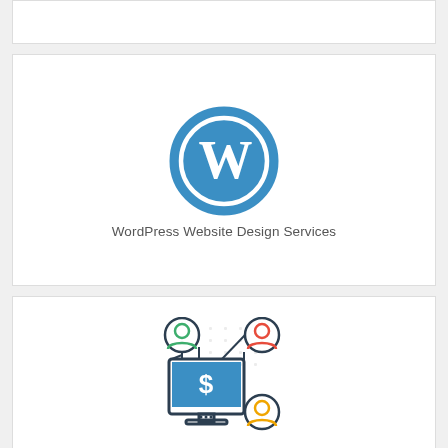[Figure (illustration): Partial top card, cut off at top of page]
[Figure (logo): WordPress logo - blue circle with W letter mark]
WordPress Website Design Services
[Figure (illustration): Affiliate marketing icon - computer monitor with dollar sign connected to three person icons via network lines]
Affiliate Marketing Services